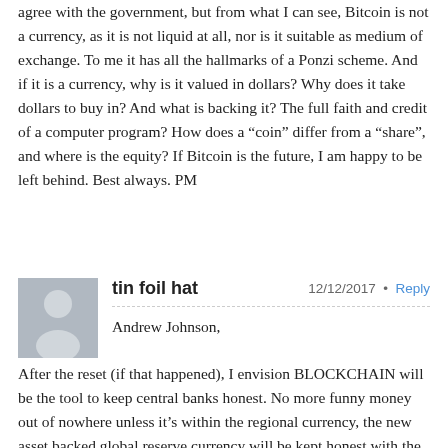agree with the government, but from what I can see, Bitcoin is not a currency, as it is not liquid at all, nor is it suitable as medium of exchange. To me it has all the hallmarks of a Ponzi scheme. And if it is a currency, why is it valued in dollars? Why does it take dollars to buy in? And what is backing it? The full faith and credit of a computer program? How does a “coin” differ from a “share”, and where is the equity? If Bitcoin is the future, I am happy to be left behind. Best always. PM
[Figure (illustration): Gray avatar placeholder showing a silhouette of a person (head and shoulders)]
tin foil hat   12/12/2017 • Reply
Andrew Johnson,

After the reset (if that happened), I envision BLOCKCHAIN will be the tool to keep central banks honest. No more funny money out of nowhere unless it's within the regional currency, the new asset backed global reserve currency will be kept honest with the BLOCKCHAIN technology and central banks’ digital “wallet”. New coin will be mined